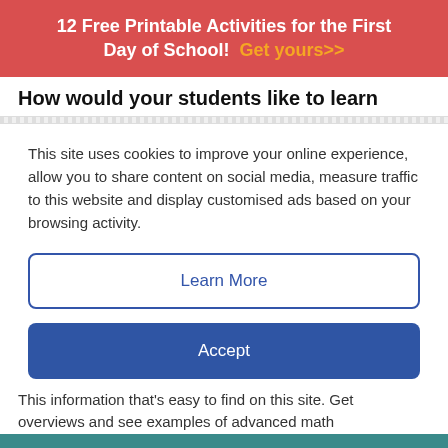12 Free Printable Activities for the First Day of School! Get yours>>
How would your students like to learn
This site uses cookies to improve your online experience, allow you to share content on social media, measure traffic to this website and display customised ads based on your browsing activity.
Learn More
Accept
This information that's easy to find on this site. Get overviews and see examples of advanced math
< See More Learning at Home Resources